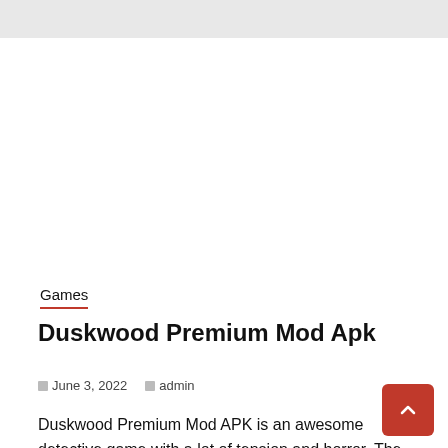Games
Duskwood Premium Mod Apk
June 3, 2022   admin
Duskwood Premium Mod APK is an awesome detective game with a lot of tension and horror. The game is very